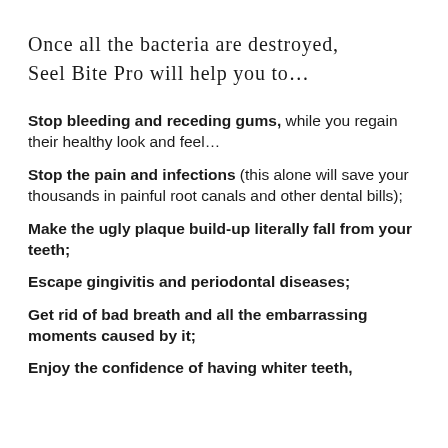Once all the bacteria are destroyed, Seel Bite Pro will help you to…
Stop bleeding and receding gums, while you regain their healthy look and feel…
Stop the pain and infections (this alone will save your thousands in painful root canals and other dental bills);
Make the ugly plaque build-up literally fall from your teeth;
Escape gingivitis and periodontal diseases;
Get rid of bad breath and all the embarrassing moments caused by it;
Enjoy the confidence of having whiter teeth,